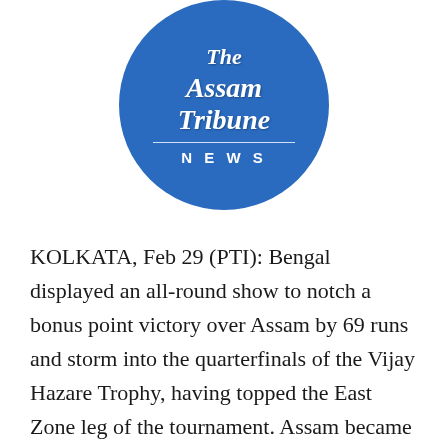[Figure (logo): The Assam Tribune News circular logo — blue circle with white text in blackletter/Old English style reading 'The Assam Tribune' with 'NEWS' below a horizontal divider]
KOLKATA, Feb 29 (PTI): Bengal displayed an all-round show to notch a bonus point victory over Assam by 69 runs and storm into the quarterfinals of the Vijay Hazare Trophy, having topped the East Zone leg of the tournament. Assam became the second team to qualify